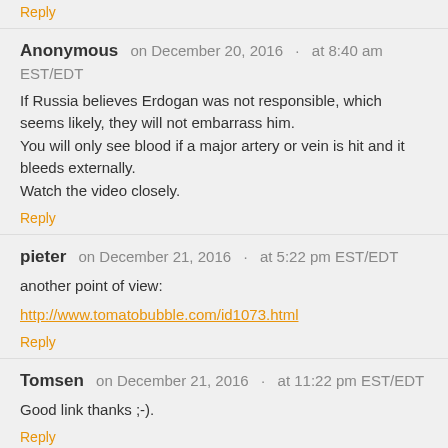Reply
Anonymous   on December 20, 2016  ·  at 8:40 am EST/EDT
If Russia believes Erdogan was not responsible, which seems likely, they will not embarrass him.
You will only see blood if a major artery or vein is hit and it bleeds externally.
Watch the video closely.
Reply
pieter    on December 21, 2016  ·  at 5:22 pm EST/EDT
another point of view:
http://www.tomatobubble.com/id1073.html
Reply
Tomsen    on December 21, 2016  ·  at 11:22 pm EST/EDT
Good link thanks ;-).
Reply